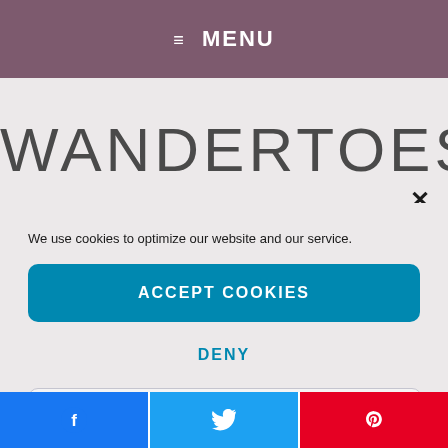≡ MENU
WANDERTOES
×
We use cookies to optimize our website and our service.
ACCEPT COOKIES
DENY
VIEW PREFERENCES
[Figure (other): Social share buttons: Facebook, Twitter, Pinterest]